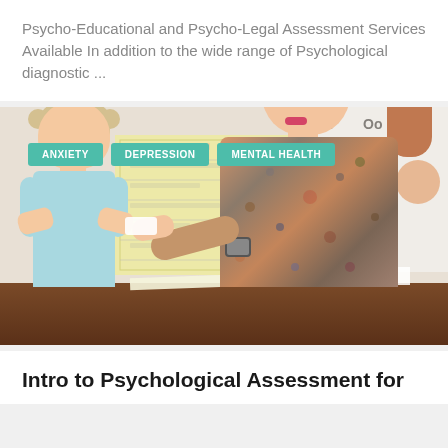Psycho-Educational and Psycho-Legal Assessment Services Available In addition to the wide range of Psychological diagnostic ...
[Figure (photo): A female therapist/psychologist with long red hair, wearing a floral blouse, seated at a desk across from a young child with blonde hair in pigtails, in what appears to be a clinical or educational setting. A yellow chart and periodic table are visible on the wall in the background.]
Intro to Psychological Assessment for